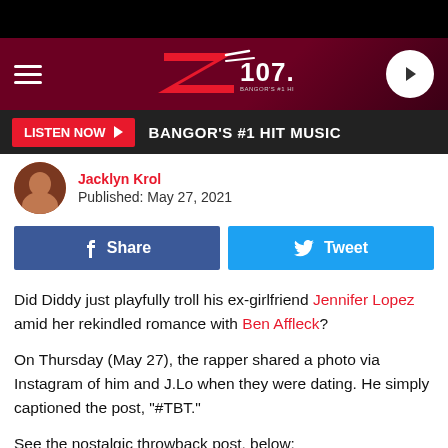[Figure (logo): Z107.3 radio station logo on dark red header background with hamburger menu and play button]
LISTEN NOW ▶  BANGOR'S #1 HIT MUSIC
Jacklyn Krol
Published: May 27, 2021
[Figure (other): Facebook Share and Twitter Tweet social sharing buttons]
Did Diddy just playfully troll his ex-girlfriend Jennifer Lopez amid her rekindled romance with Ben Affleck?
On Thursday (May 27), the rapper shared a photo via Instagram of him and J.Lo when they were dating. He simply captioned the post, "#TBT."
See the nostalgic throwback post, below: